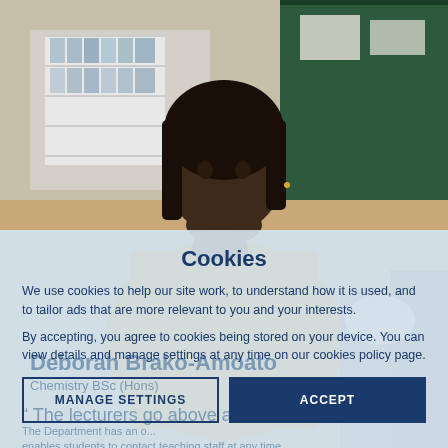[Figure (photo): A woman wearing a yellow top seated at a desk, resting her chin on her hand, with filing cabinets and a green board visible in the background.]
Cookies
We use cookies to help our site work, to understand how it is used, and to tailor ads that are more relevant to you and your interests.
By accepting, you agree to cookies being stored on your device. You can view details and manage settings at any time on our cookies policy page.
MANAGE SETTINGS
ACCEPT